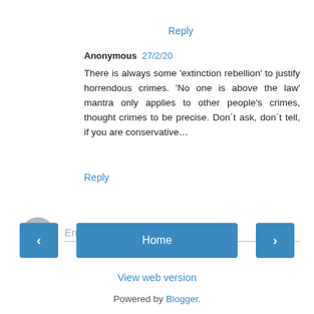Reply
Anonymous 27/2/20
There is always some ‘extinction rebellion’ to justify horrendous crimes. ‘No one is above the law’ mantra only applies to other people’s crimes, thought crimes to be precise. Don´t ask, don´t tell, if you are conservative…
Reply
Enter Comment
Home
View web version
Powered by Blogger.